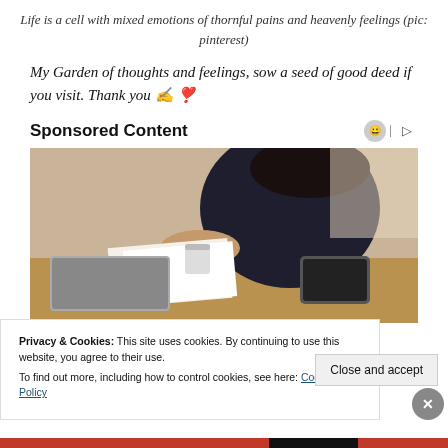Life is a cell with mixed emotions of thornful pains and heavenly feelings (pic: pinterest)
My Garden of thoughts and feelings, sow a seed of good deed if you visit. Thank you ✍️❣️
Sponsored Content
[Figure (photo): Woman in dark clothing leaning over a desk with papers and laptop, working environment]
Privacy & Cookies: This site uses cookies. By continuing to use this website, you agree to their use.
To find out more, including how to control cookies, see here: Cookie Policy
Close and accept